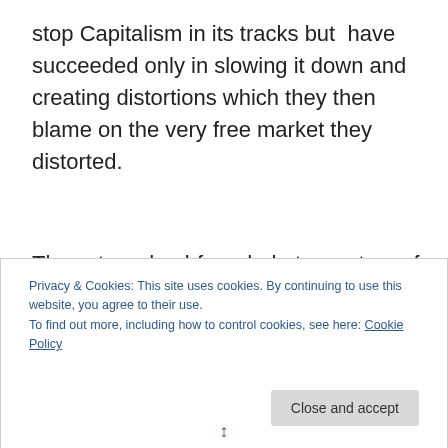stop Capitalism in its tracks but  have succeeded only in slowing it down and creating distortions which they then blame on the very free market they distorted.
They stare dumbfounded at a system of trade that does not require their genius, planning or input, to be successful.
Privacy & Cookies: This site uses cookies. By continuing to use this website, you agree to their use.
To find out more, including how to control cookies, see here: Cookie Policy